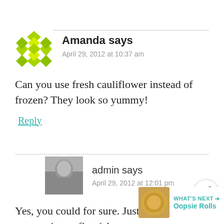Amanda says
April 29, 2012 at 10:37 am
Can you use fresh cauliflower instead of frozen? They look so yummy!
Reply
admin says
April 29, 2012 at 12:01 pm
Yes, you could for sure. Just b[e sure] to process into a fine (almost